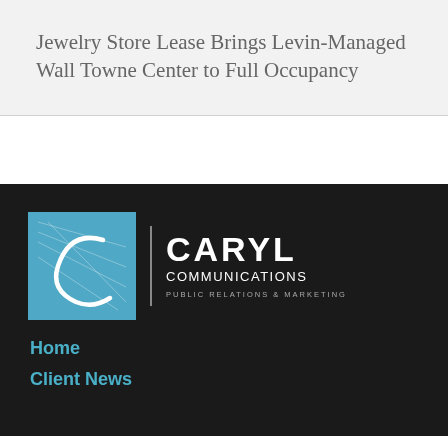Jewelry Store Lease Brings Levin-Managed Wall Towne Center to Full Occupancy
[Figure (logo): Caryl Communications logo - blue square with stylized C, text CARYL COMMUNICATIONS PUBLIC RELATIONS & MARKETING]
Home
Client News